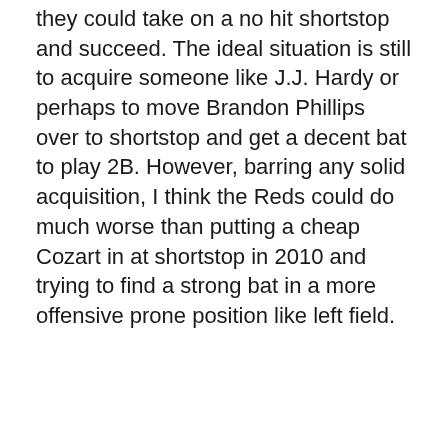they could take on a no hit shortstop and succeed. The ideal situation is still to acquire someone like J.J. Hardy or perhaps to move Brandon Phillips over to shortstop and get a decent bat to play 2B. However, barring any solid acquisition, I think the Reds could do much worse than putting a cheap Cozart in at shortstop in 2010 and trying to find a strong bat in a more offensive prone position like left field.
[Figure (other): DraftKings Sportsbook widget showing Joey Votto with odds +10000 to win NL MVP]